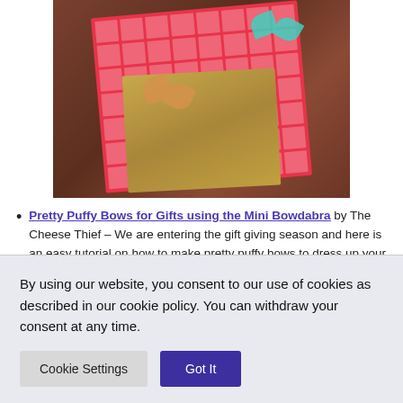[Figure (photo): Photo of wrapped gift boxes on a dark wood surface. A pink and white patterned gift wrap holds packages; one wrapped in gold/kraft paper with a gold ruffled bow, one taller in pink patterned paper with a teal/turquoise ribbon bow.]
Pretty Puffy Bows for Gifts using the Mini Bowdabra by The Cheese Thief – We are entering the gift giving season and here is an easy tutorial on how to make pretty puffy bows to dress up your gift boxes and bags. Enter her giveaway, too! Ends
By using our website, you consent to our use of cookies as described in our cookie policy. You can withdraw your consent at any time.